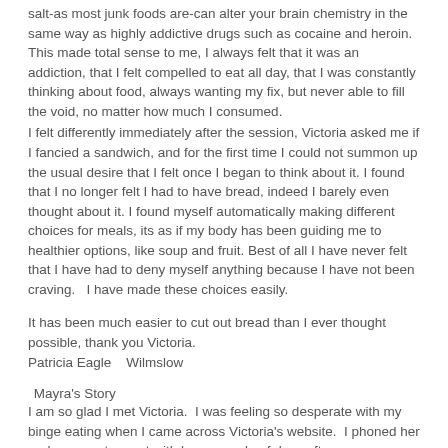salt-as most junk foods are-can alter your brain chemistry in the same way as highly addictive drugs such as cocaine and heroin. This made total sense to me, I always felt that it was an addiction, that I felt compelled to eat all day, that I was constantly thinking about food, always wanting my fix, but never able to fill the void, no matter how much I consumed.
I felt differently immediately after the session, Victoria asked me if I fancied a sandwich, and for the first time I could not summon up the usual desire that I felt once I began to think about it. I found that I no longer felt I had to have bread, indeed I barely even thought about it. I found myself automatically making different choices for meals, its as if my body has been guiding me to healthier options, like soup and fruit. Best of all I have never felt that I have had to deny myself anything because I have not been craving.   I have made these choices easily.
It has been much easier to cut out bread than I ever thought possible, thank you Victoria.
Patricia Eagle    Wilmslow
Mayra's Story
I am so glad I met Victoria.  I was feeling so desperate with my binge eating when I came across Victoria's website.  I phoned her and arrange to meet with her a couple of days after.
After the session was over I felt so relaxed and with no urge to eat.  I now feel I have control over food  Thank you Vitoria
Mayra Angulo